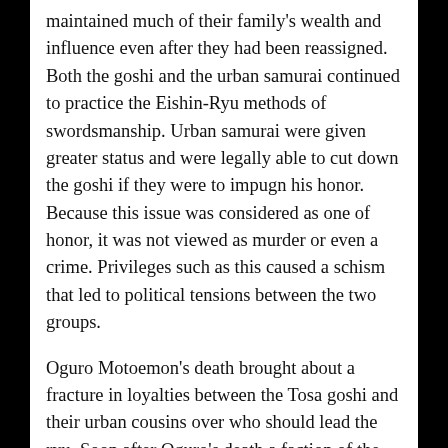maintained much of their family's wealth and influence even after they had been reassigned. Both the goshi and the urban samurai continued to practice the Eishin-Ryu methods of swordsmanship. Urban samurai were given greater status and were legally able to cut down the goshi if they were to impugn his honor. Because this issue was considered as one of honor, it was not viewed as murder or even a crime. Privileges such as this caused a schism that led to political tensions between the two groups.
Oguro Motoemon's death brought about a fracture in loyalties between the Tosa goshi and their urban cousins over who should lead the ryu. Soon after Oguro's death a faction of the ryu was led by Matsuyoshi Hisanari, a man who was often considered more “urban” than some of his colleagues. He was not known as one of his father the Oguro’s direct...